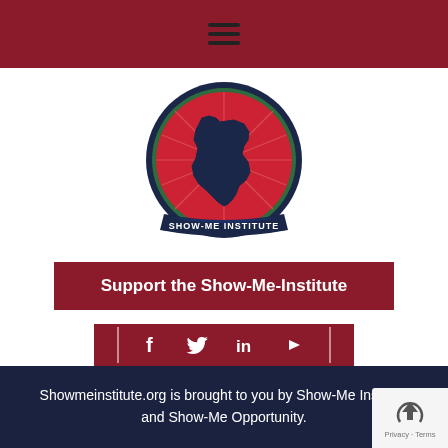☰ (hamburger menu icon)
[Figure (logo): Show-Me Institute circular logo with Missouri state outline on red background, dark blue border, and ribbon at bottom reading SHOW-ME INSTITUTE]
Support the Show-Me-Institute
[Figure (infographic): Social media icons bar with Facebook, Twitter, LinkedIn, and YouTube icons on dark red background]
Showmeinstitute.org is brought to you by Show-Me Institute and Show-Me Opportunity.